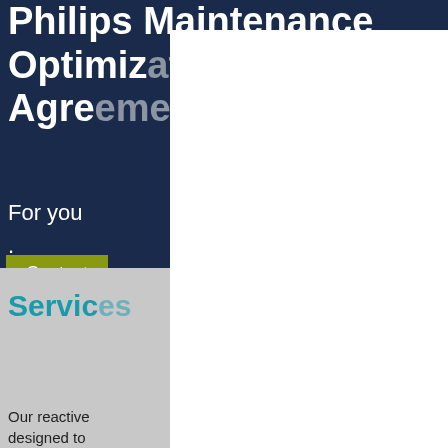Philips Maintenance Optimization Standard Agreement
For you
Contact
Services meet your clinical requirements
Our reactive ... is designed to ... competitive ...